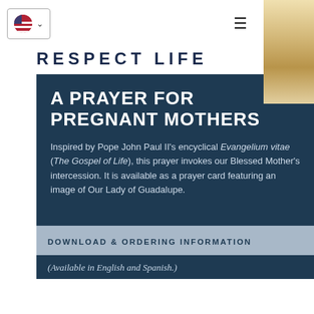RESPECT LIFE
A PRAYER FOR PREGNANT MOTHERS
Inspired by Pope John Paul II's encyclical Evangelium vitae (The Gospel of Life), this prayer invokes our Blessed Mother's intercession. It is available as a prayer card featuring an image of Our Lady of Guadalupe.
DOWNLOAD & ORDERING INFORMATION
(Available in English and Spanish.)